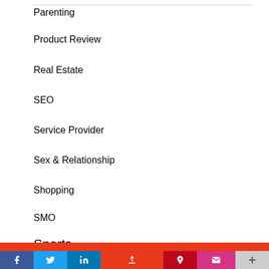Parenting
Product Review
Real Estate
SEO
Service Provider
Sex & Relationship
Shopping
SMO
Sports
[Figure (other): Mobile app bottom navigation bar with social sharing icons: Facebook (blue), Twitter (blue), LinkedIn (blue), share/up arrow (center), Pinterest (red), mail/envelope (pink), plus (+) button (grey), on an orange/red background bar]